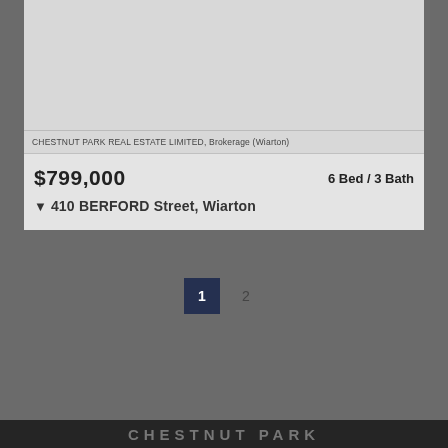[Figure (photo): Exterior photo of a two-story Victorian-style red brick house with white trim, a covered porch, and surrounding trees and green lawn]
CHESTNUT PARK REAL ESTATE LIMITED, Brokerage (Wiarton)
$799,000
6 Bed / 3 Bath
410 BERFORD Street, Wiarton
1  2
CHESTNUT PARK